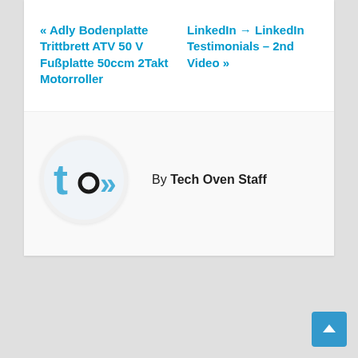« Adly Bodenplatte Trittbrett ATV 50 V Fußplatte 50ccm 2Takt Motorroller
LinkedIn → LinkedIn Testimonials – 2nd Video »
[Figure (logo): Tech Oven logo: circular white background with 'to>' text in blue]
By Tech Oven Staff